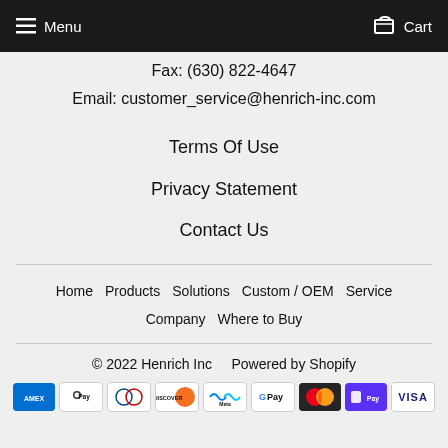Menu   Cart
Fax: (630) 822-4647
Email: customer_service@henrich-inc.com
Terms Of Use
Privacy Statement
Contact Us
Home   Products   Solutions   Custom / OEM   Service
Company   Where to Buy
© 2022 Henrich Inc   Powered by Shopify